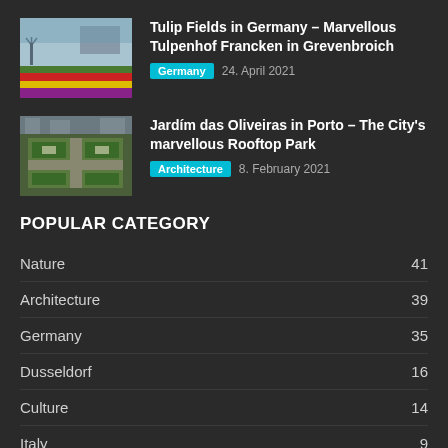[Figure (photo): Colorful tulip fields in rows of red, yellow, and purple with a building in the background]
Tulip Fields in Germany – Marvellous Tulpenhof Francken in Grevenbroich
Germany   24. April 2021
[Figure (photo): Aerial view of a rooftop park with geometric garden patterns, green lawns, and pathways in Porto]
Jardím das Oliveiras in Porto – The City's marvellous Rooftop Park
Architecture   8. February 2021
POPULAR CATEGORY
Nature   41
Architecture   39
Germany   35
Dusseldorf   16
Culture   14
Italy   9